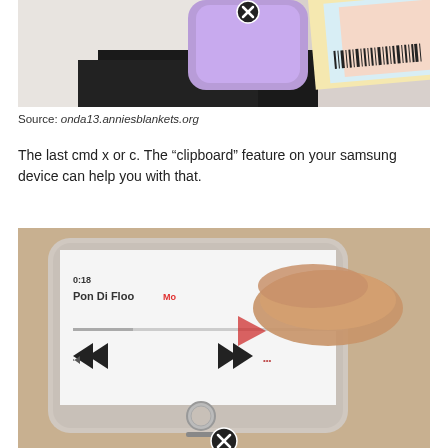[Figure (photo): Photo of a purple phone case with an X icon and documents with barcodes on a white fabric and black cloth background]
Source: onda13.anniesblankets.org
The last cmd x or c. The “clipboard” feature on your samsung device can help you with that.
[Figure (photo): Photo of a hand pressing on a smartphone screen showing a music player app with 'Pon Di Floo' track, playback controls, and an X icon at the bottom]